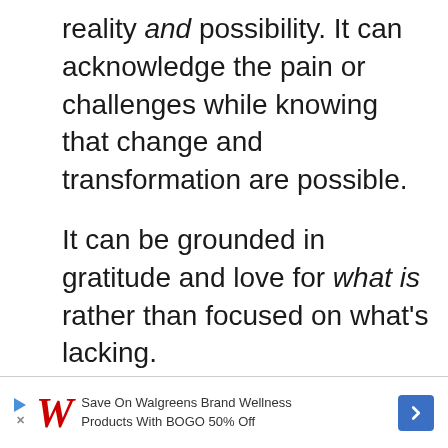reality and possibility. It can acknowledge the pain or challenges while knowing that change and transformation are possible.

It can be grounded in gratitude and love for what is rather than focused on what's lacking.
[Figure (other): Walgreens advertisement banner: Save On Walgreens Brand Wellness Products With BOGO 50% Off]